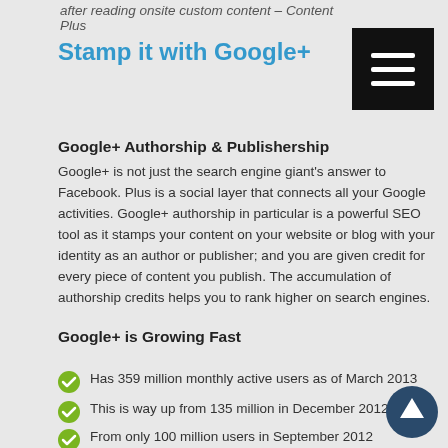after reading onsite custom content – Content Plus
Stamp it with Google+
Google+ Authorship & Publishership
Google+ is not just the search engine giant's answer to Facebook. Plus is a social layer that connects all your Google activities. Google+ authorship in particular is a powerful SEO tool as it stamps your content on your website or blog with your identity as an author or publisher; and you are given credit for every piece of content you publish. The accumulation of authorship credits helps you to rank higher on search engines.
Google+ is Growing Fast
Has 359 million monthly active users as of March 2013
This is way up from 135 million in December 2012
From only 100 million users in September 2012
Claim your Authored Content